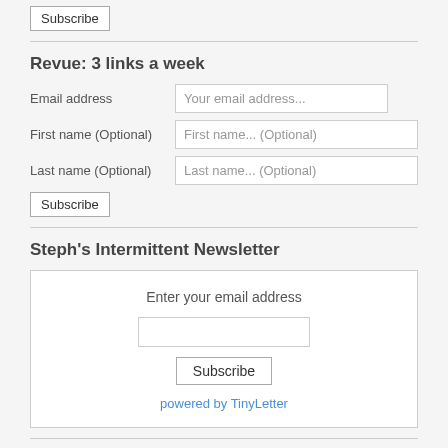Subscribe
Revue: 3 links a week
Email address   Your email address...
First name (Optional)   First name... (Optional)
Last name (Optional)   Last name... (Optional)
Subscribe
Steph's Intermittent Newsletter
Enter your email address
Subscribe
powered by TinyLetter
Demande à Steph